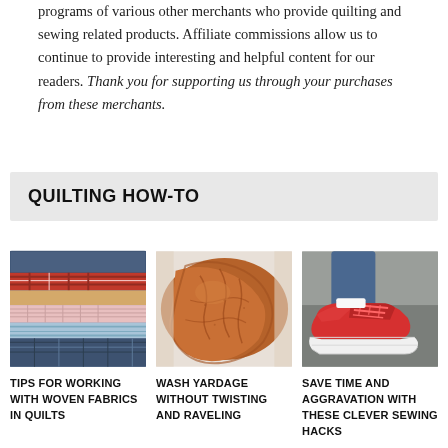programs of various other merchants who provide quilting and sewing related products. Affiliate commissions allow us to continue to provide interesting and helpful content for our readers. Thank you for supporting us through your purchases from these merchants.
QUILTING HOW-TO
[Figure (photo): Stack of folded woven fabrics in various plaid and checkered patterns including denim blue, red plaid, gingham, and light blue stripes.]
[Figure (photo): Crumpled rust/terracotta woven fabric bundled together, showing texture of the material.]
[Figure (photo): Person wearing a bright red/coral sneaker with white chunky sole and red laces, photographed from the ankle down against a grey background.]
TIPS FOR WORKING WITH WOVEN FABRICS IN QUILTS
WASH YARDAGE WITHOUT TWISTING AND RAVELING
SAVE TIME AND AGGRAVATION WITH THESE CLEVER SEWING HACKS